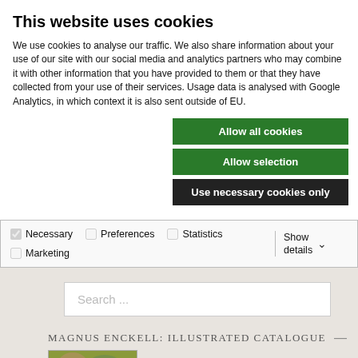This website uses cookies
We use cookies to analyse our traffic. We also share information about your use of our site with our social media and analytics partners who may combine it with other information that you have provided to them or that they have collected from your use of their services. Usage data is analysed with Google Analytics, in which context it is also sent outside of EU.
[Figure (screenshot): Cookie consent dialog with two green buttons ('Allow all cookies', 'Allow selection') and one dark button ('Use necessary cookies only'), followed by a checkbox row for Necessary, Preferences, Statistics, Marketing with a Show details dropdown, and below a website with a search field and a catalogue header 'MAGNUS ENCKELL: ILLUSTRATED CATALOGUE' with a painting thumbnail]